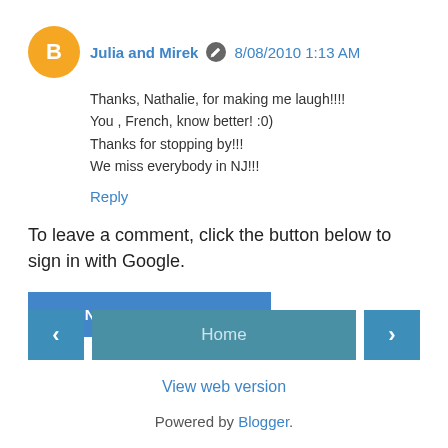Julia and Mirek  8/08/2010 1:13 AM
Thanks, Nathalie, for making me laugh!!!!
You , French, know better! :0)
Thanks for stopping by!!!
We miss everybody in NJ!!!
Reply
To leave a comment, click the button below to sign in with Google.
[Figure (other): SIGN IN WITH GOOGLE button]
[Figure (other): Navigation bar with left arrow, Home button, right arrow]
View web version
Powered by Blogger.